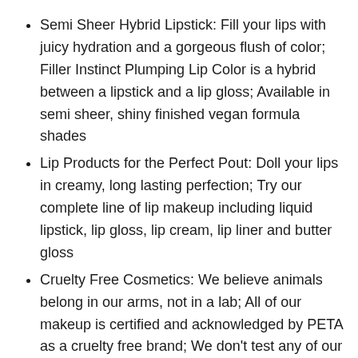Semi Sheer Hybrid Lipstick: Fill your lips with juicy hydration and a gorgeous flush of color; Filler Instinct Plumping Lip Color is a hybrid between a lipstick and a lip gloss; Available in semi sheer, shiny finished vegan formula shades
Lip Products for the Perfect Pout: Doll your lips in creamy, long lasting perfection; Try our complete line of lip makeup including liquid lipstick, lip gloss, lip cream, lip liner and butter gloss
Cruelty Free Cosmetics: We believe animals belong in our arms, not in a lab; All of our makeup is certified and acknowledged by PETA as a cruelty free brand; We don't test any of our products on animals
Discover NYX Professional Makeup: Try all of our professional makeup products today from eyeshadow, eyeliner, and false lashes to liquid lipstick,